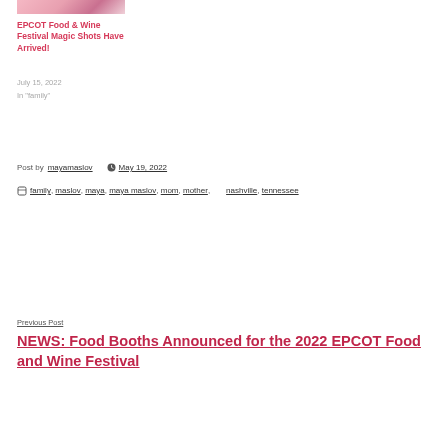[Figure (photo): Partial photo at top showing food and wine festival related image]
EPCOT Food & Wine Festival Magic Shots Have Arrived!
July 15, 2022
In "family"
Post author: mayamaslov  May 19, 2022
Tags: family, maslov, maya, maya maslov, mom, mother, nashville, tennessee
Previous Post
NEWS: Food Booths Announced for the 2022 EPCOT Food and Wine Festival